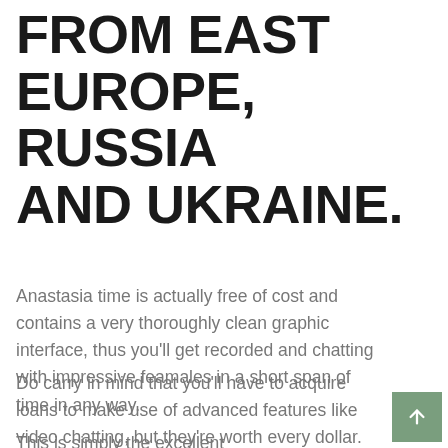FROM EAST EUROPE, RUSSIA AND UKRAINE.
Anastasia time is actually free of cost and contains a very thoroughly clean graphic interface, thus you'll get recorded and chatting with impressive feamales in a short span of time in any way.
Do carry in mind that you'll have to acquire loans to make use of advanced features like video chatting, but they're worth every dollar.
This is simply the excellent